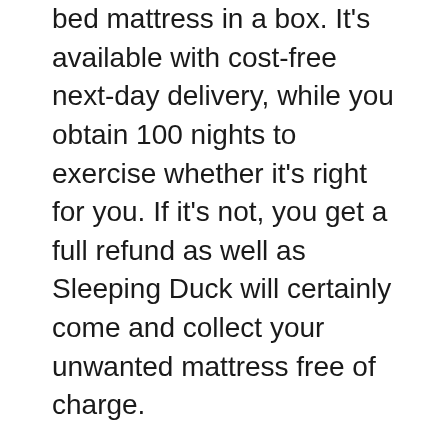bed mattress in a box. It's available with cost-free next-day delivery, while you obtain 100 nights to exercise whether it's right for you. If it's not, you get a full refund as well as Sleeping Duck will certainly come and collect your unwanted mattress free of charge.
The SD Mach II is offered as a Solitary, King Single, Double, Queen or King. You can likewise choose between 2 firmness degrees, Medium and also Firm, or opt for a half-and-half technique if you as well as your companion can not settle on which is extra comfortable.
Look inside the mattress as well as you'll locate a combination of twice-tempered steel